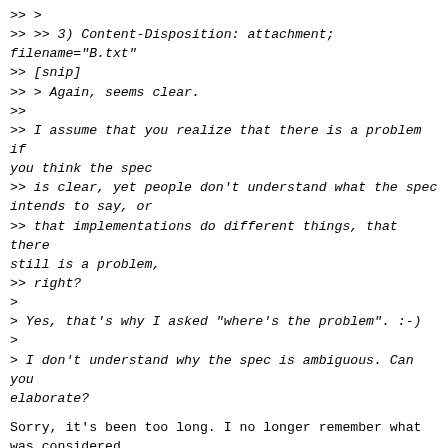>> >
>> >> 3) Content-Disposition: attachment;
filename="B.txt"
>> [snip]
>> > Again, seems clear.
>>
>> I assume that you realize that there is a problem if
you think the spec
>> is clear, yet people don't understand what the spec
intends to say, or
>> that implementations do different things, that there
still is a problem,
>> right?
>
> Yes, that's why I asked "where's the problem". :-)
>
> I don't understand why the spec is ambiguous. Can you
elaborate?
Sorry, it's been too long. I no longer remember what
was considered
ambiguous. Possibly the comments in the bugs linked to
from this
thread has relevant information.
>> Note that in this case the problem wasn't with the
filename, but rather
>> with "inline" vs. "attachment". At least if I recall
correctly. It's
>> been a while.